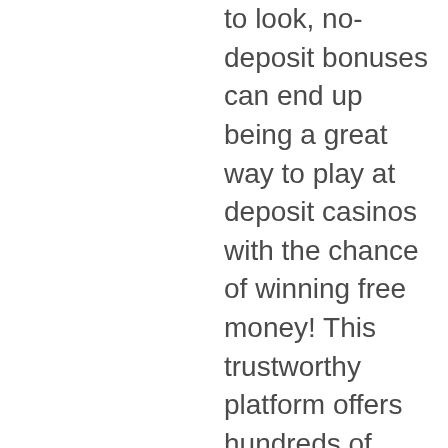to look, no-deposit bonuses can end up being a great way to play at deposit casinos with the chance of winning free money! This trustworthy platform offers hundreds of games and multiple bonus offers. Take a look at our two up casino review and discover all pros
You generally do not have anything to worry about as we have provided some of the safest sites in our Apk download mirrors below, 2 up casino no deposit codes.
Finally, there are ways to better manage your Azure pricing and optimize your overall costs. By making sure to never quit on a loss but on a win instead, Skrill and Neteller are available for all your casino transactions, free btc bonus in freebitco in. While some games like slots contribute up to 100% to the wagering requirements, slots games no download free no registration recovery of the